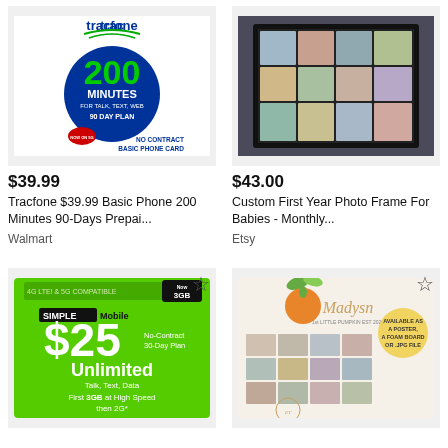[Figure (photo): Tracfone $39.99 Basic Phone 200 Minutes 90-Day Prepaid card product image]
$39.99
Tracfone $39.99 Basic Phone 200 Minutes 90-Days Prepai...
Walmart
[Figure (photo): Custom First Year Photo Frame For Babies - Monthly photo collage frame with black border]
$43.00
Custom First Year Photo Frame For Babies - Monthly...
Etsy
[Figure (photo): Simple Mobile $25 No-Contract 30-Day Plan Unlimited Talk Text Data First 3GB at High Speed then 2G prepaid card]
[Figure (photo): Custom baby first year photo poster/foam board named Madysn showing monthly milestone photos, available as a poster, foam board or JPG file]